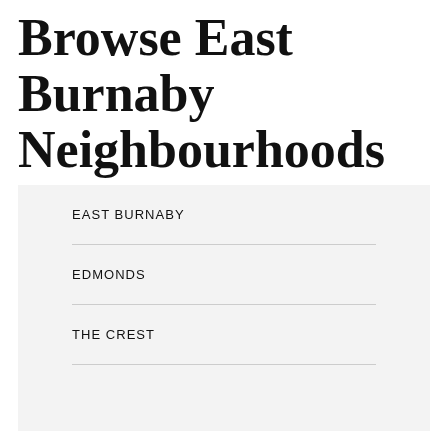Browse East Burnaby Neighbourhoods
EAST BURNABY
EDMONDS
THE CREST